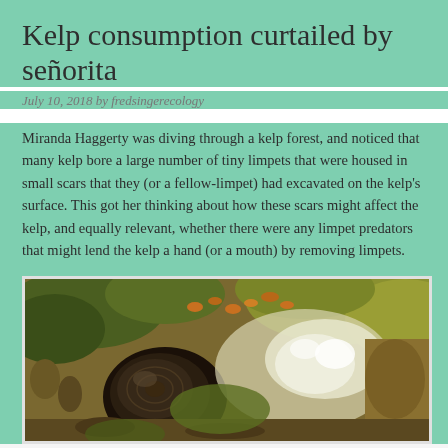Kelp consumption curtailed by señorita
July 10, 2018 by fredsingerecology
Miranda Haggerty was diving through a kelp forest, and noticed that many kelp bore a large number of tiny limpets that were housed in small scars that they (or a fellow-limpet) had excavated on the kelp's surface. This got her thinking about how these scars might affect the kelp, and equally relevant, whether there were any limpet predators that might lend the kelp a hand (or a mouth) by removing limpets.
[Figure (photo): Close-up photograph of a dark brown limpet on kelp surface with water and other marine organisms visible]
Follow